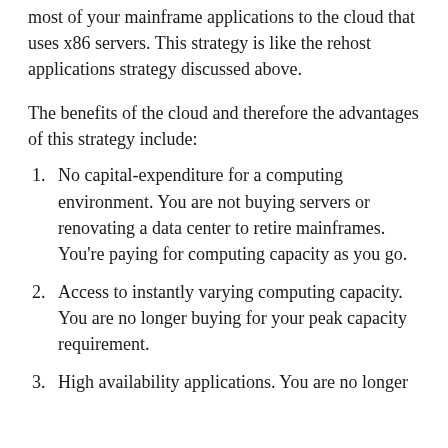most of your mainframe applications to the cloud that uses x86 servers. This strategy is like the rehost applications strategy discussed above.
The benefits of the cloud and therefore the advantages of this strategy include:
No capital-expenditure for a computing environment. You are not buying servers or renovating a data center to retire mainframes. You're paying for computing capacity as you go.
Access to instantly varying computing capacity. You are no longer buying for your peak capacity requirement.
High availability applications. You are no longer